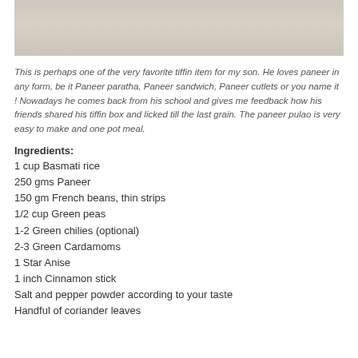[Figure (photo): Top portion of a food photo showing a textured light-colored wooden surface or fabric background]
This is perhaps one of the very favorite tiffin item for my son. He loves paneer in any form, be it Paneer paratha, Paneer sandwich, Paneer cutlets or you name it ! Nowadays he comes back from his school and gives me feedback how his friends shared his tiffin box and licked till the last grain. The paneer pulao is very easy to make and one pot meal.
Ingredients:
1 cup Basmati rice
250 gms Paneer
150 gm French beans, thin strips
1/2 cup Green peas
1-2 Green chilies (optional)
2-3 Green Cardamoms
1 Star Anise
1 inch Cinnamon stick
Salt and pepper powder according to your taste
Handful of coriander leaves